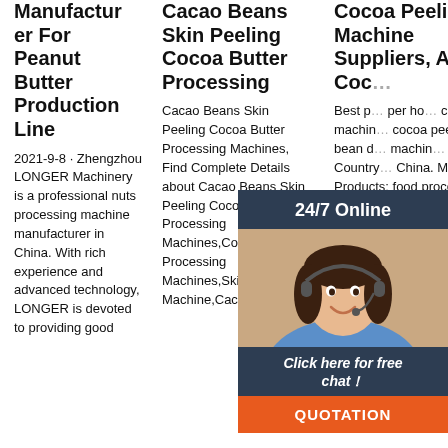Manufacturer For Peanut Butter Production Line
Cacao Beans Skin Peeling Cocoa Butter Processing
Cocoa Peeling Machine Suppliers, All C... Coc...
2021-9-8 · Zhengzhou LONGER Machinery is a professional nuts processing machine manufacturer in China. With rich experience and advanced technology, LONGER is devoted to providing good
Cacao Beans Skin Peeling Cocoa Butter Processing Machines, Find Complete Details about Cacao Beans Skin Peeling Cocoa Butter Processing Machines,Cocoa Processing Machines,Skin Peeling Machine,Cacao
Best p... per ho... cocoa machin... cocoa peeler... bean d... machin... Country... China. Main Products: food processing machine,Agricultural machinery,fruit processing
[Figure (infographic): Live chat widget with a customer service representative. Shows '24/7 Online' header in dark navy, a photo of a smiling woman with headset, 'Click here for free chat!' text, and an orange QUOTATION button. A TOP badge appears at bottom right.]